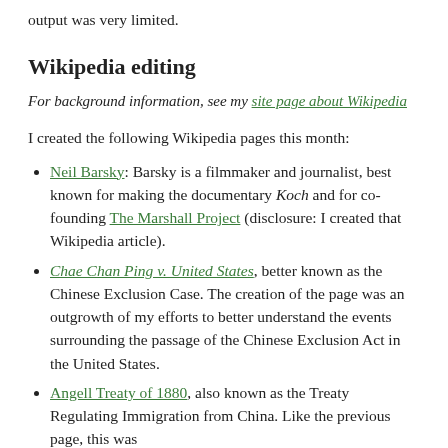output was very limited.
Wikipedia editing
For background information, see my site page about Wikipedia
I created the following Wikipedia pages this month:
Neil Barsky: Barsky is a filmmaker and journalist, best known for making the documentary Koch and for co-founding The Marshall Project (disclosure: I created that Wikipedia article).
Chae Chan Ping v. United States, better known as the Chinese Exclusion Case. The creation of the page was an outgrowth of my efforts to better understand the events surrounding the passage of the Chinese Exclusion Act in the United States.
Angell Treaty of 1880, also known as the Treaty Regulating Immigration from China. Like the previous page, this was